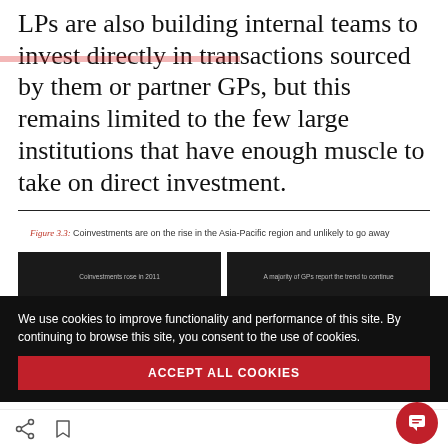LPs are also building internal teams to invest directly in transactions sourced by them or partner GPs, but this remains limited to the few large institutions that have enough muscle to take on direct investment.
Figure 3.3: Coinvestments are on the rise in the Asia-Pacific region and unlikely to go away
[Figure (other): Two dark panel chart headers partially visible: left panel 'Coinvestments rose in 2011', right panel 'A majority of GPs report the trend to continue']
We use cookies to improve functionality and performance of this site. By continuing to browse this site, you consent to the use of cookies.
ACCEPT ALL COOKIES